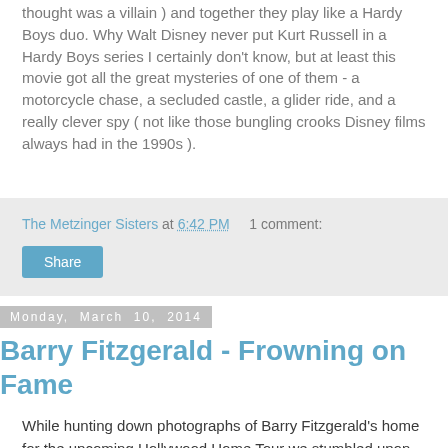thought was a villain ) and together they play like a Hardy Boys duo. Why Walt Disney never put Kurt Russell in a Hardy Boys series I certainly don't know, but at least this movie got all the great mysteries of one of them - a motorcycle chase, a secluded castle, a glider ride, and a really clever spy ( not like those bungling crooks Disney films always had in the 1990s ).
The Metzinger Sisters at 6:42 PM    1 comment:
Share
Monday, March 10, 2014
Barry Fitzgerald - Frowning on Fame
While hunting down photographs of Barry Fitzgerald's home for the upcoming Hollywood Home Tour we stumbled upon this article from the New York Times, originally posted on January 14, 1945. It was so entertaining we couldn't help but